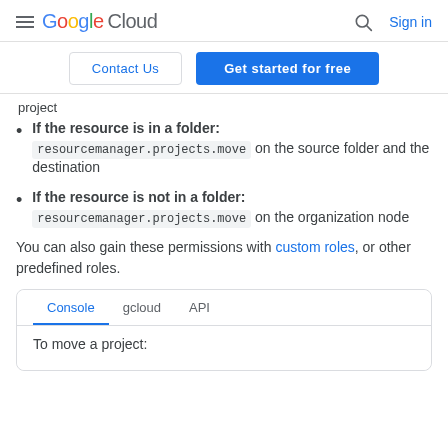Google Cloud  Sign in
Contact Us   Get started for free
project
If the resource is in a folder: resourcemanager.projects.move on the source folder and the destination
If the resource is not in a folder: resourcemanager.projects.move on the organization node
You can also gain these permissions with custom roles, or other predefined roles.
Console   gcloud   API   To move a project: